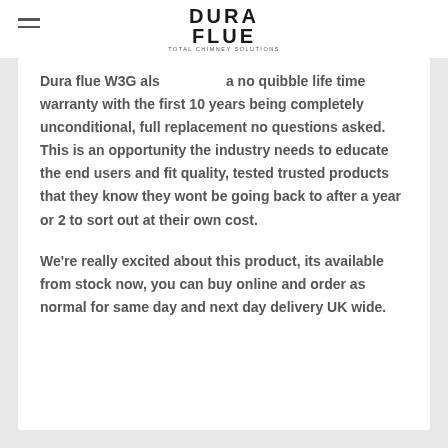DURA FLUE — TOTAL CHIMNEY SOLUTIONS
Dura flue W3G als a no quibble life time warranty with the first 10 years being completely unconditional, full replacement no questions asked. This is an opportunity the industry needs to educate the end users and fit quality, tested trusted products that they know they wont be going back to after a year or 2 to sort out at their own cost.
We're really excited about this product, its available from stock now, you can buy online and order as normal for same day and next day delivery UK wide.